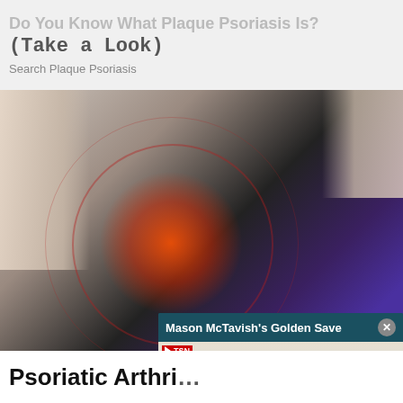Do You Know What Plaque Psoriasis Is? (Take a Look)
Search Plaque Psoriasis
[Figure (photo): Medical illustration of a person showing inflammation/pain on the lower back area, with red glowing concentric circles indicating pain zone. Person wearing black shirt and purple leggings.]
[Figure (screenshot): Video popup overlay showing 'Mason McTavish's Golden Save' with TSN branding, a hockey player wearing jersey #33 (McTavish) near a goal on ice, with a yellow mute button.]
Psoriatic Arthri...